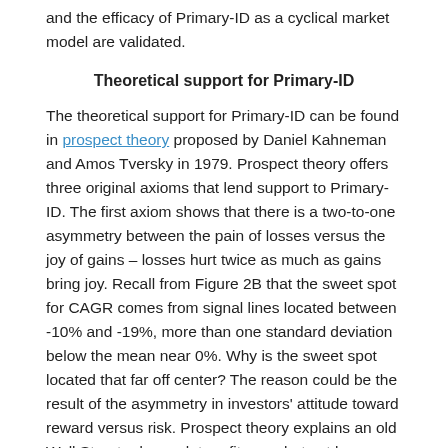and the efficacy of Primary-ID as a cyclical market model are validated.
Theoretical support for Primary-ID
The theoretical support for Primary-ID can be found in prospect theory proposed by Daniel Kahneman and Amos Tversky in 1979. Prospect theory offers three original axioms that lend support to Primary-ID. The first axiom shows that there is a two-to-one asymmetry between the pain of losses versus the joy of gains – losses hurt twice as much as gains bring joy. Recall from Figure 2B that the sweet spot for CAGR comes from signal lines located between -10% and -19%, more than one standard deviation below the mean near 0%. Why is the sweet spot located that far off center? The reason could be the result of the asymmetry in investors' attitude toward reward versus risk. Prospect theory explains an old Wall Street adage – let profits, run but cut losses short. Primary-ID adds a new meaning to this old motto – buy swiftly, but sell late. In other words, buy quickly once YoY-ROC CAPE crosses above -13% but don't sell until YoY-ROC CAPE crosses below -13%.
The second prospect theory axiom deals with scalar and vector.